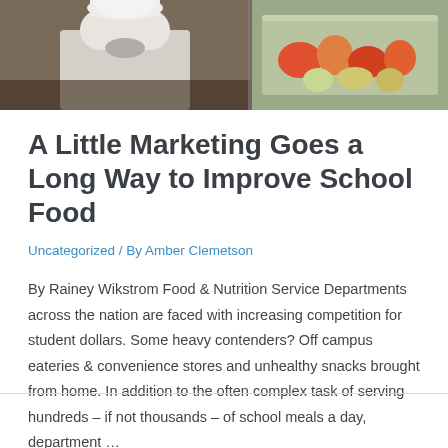[Figure (photo): Top banner photo showing a chef in white uniform on the left side and a food tray with fruits/vegetables on the right side]
A Little Marketing Goes a Long Way to Improve School Food
Uncategorized / By Amber Clemetson
By Rainey Wikstrom Food & Nutrition Service Departments across the nation are faced with increasing competition for student dollars. Some heavy contenders? Off campus eateries & convenience stores and unhealthy snacks brought from home. In addition to the often complex task of serving hundreds – if not thousands – of school meals a day, department …
Read More »